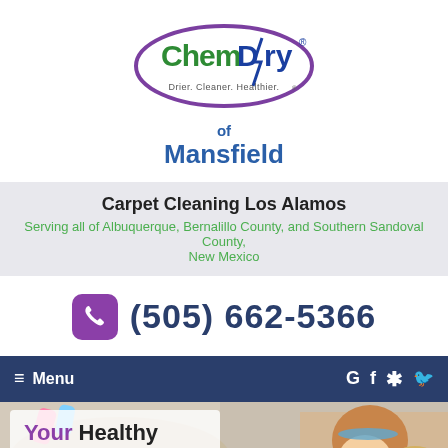[Figure (logo): Chem-Dry logo with oval purple border, green Chem text, blue Dry text with lightning bolt, tagline 'Drier. Cleaner. Healthier.' underneath]
of Mansfield
Carpet Cleaning Los Alamos
Serving all of Albuquerque, Bernalillo County, and Southern Sandoval County, New Mexico
(505) 662-5366
≡ Menu
Your Healthy Home Starts Here
Superior Carpet & Upholstery Cleaning
[Figure (photo): Two children, a girl and a boy, smiling and lying on a clean carpet in a living room]